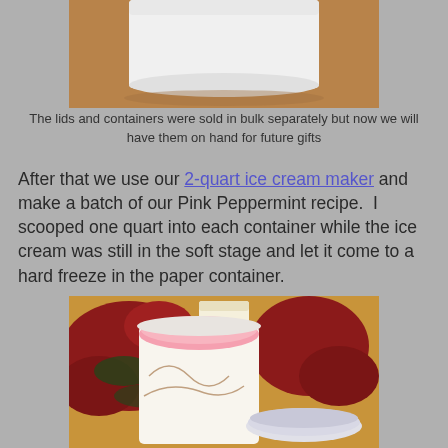[Figure (photo): Top portion of white paper container with lid on a wooden surface]
The lids and containers were sold in bulk separately but now we will have them on hand for future gifts
After that we use our 2-quart ice cream maker and make a batch of our Pink Peppermint recipe.  I scooped one quart into each container while the ice cream was still in the soft stage and let it come to a hard freeze in the paper container.
[Figure (photo): Paper container filled with pink peppermint ice cream next to a lid, with poinsettia flowers and candle in background]